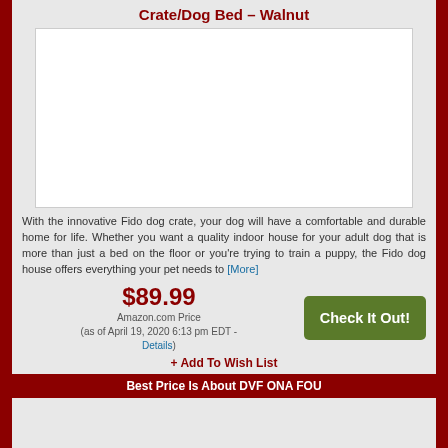Crate/Dog Bed – Walnut
[Figure (photo): Product image placeholder — white rectangle for Fido Crate/Dog Bed in Walnut]
With the innovative Fido dog crate, your dog will have a comfortable and durable home for life. Whether you want a quality indoor house for your adult dog that is more than just a bed on the floor or you're trying to train a puppy, the Fido dog house offers everything your pet needs to [More]
$89.99 Amazon.com Price (as of April 19, 2020 6:13 pm EDT - Details)
+ Add To Wish List